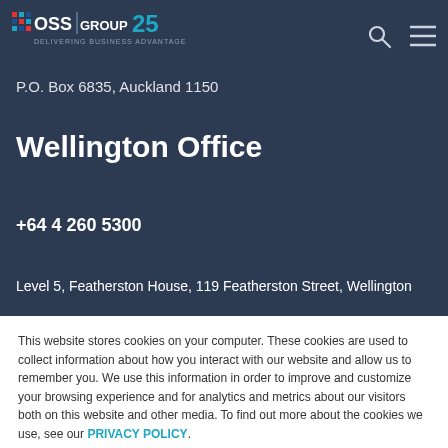OSS Group - Delivering Business Advantage [logo with navigation bar]
P.O. Box 6835, Auckland 1150
Wellington Office
+64 4 260 5300
Level 5, Featherston House, 119 Featherston Street, Wellington
This website stores cookies on your computer. These cookies are used to collect information about how you interact with our website and allow us to remember you. We use this information in order to improve and customize your browsing experience and for analytics and metrics about our visitors both on this website and other media. To find out more about the cookies we use, see our PRIVACY POLICY.
Accept
Decline